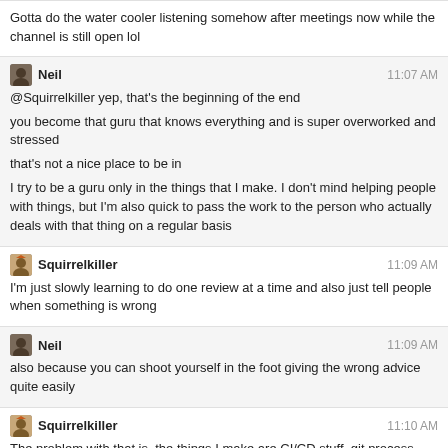Gotta do the water cooler listening somehow after meetings now while the channel is still open lol
Neil 11:07 AM
@Squirrelkiller yep, that's the beginning of the end
you become that guru that knows everything and is super overworked and stressed
that's not a nice place to be in
I try to be a guru only in the things that I make. I don't mind helping people with things, but I'm also quick to pass the work to the person who actually deals with that thing on a regular basis
Squirrelkiller 11:09 AM
I'm just slowly learning to do one review at a time and also just tell people when something is wrong
Neil 11:09 AM
also because you can shoot yourself in the foot giving the wrong advice quite easily
Squirrelkiller 11:10 AM
The problem with that is, the things I make are CI/CD stuff, git process, and tests. And especially the tests now (finally) get written by everyone on the team. And the other guy who actually knew frontend tests, the one I learned from, went to another team. So now I'm the first guy to get asked.
Neil 11:11 AM
hah
classic
the expert leaves and suddenly you're the new expert
except you're not because you always asked the expert